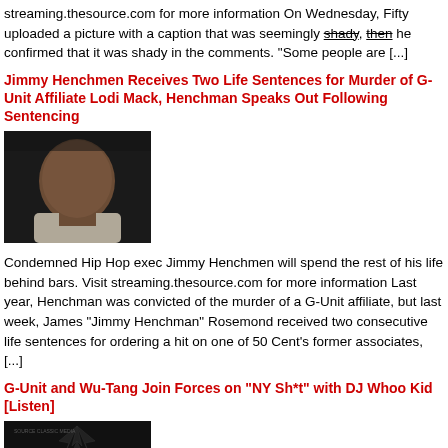streaming.thesource.com for more information On Wednesday, Fifty uploaded a picture with a caption that was seemingly shady, then he confirmed that it was shady in the comments. "Some people are [...]
Jimmy Henchmen Receives Two Life Sentences for Murder of G-Unit Affiliate Lodi Mack, Henchman Speaks Out Following Sentencing
[Figure (photo): Photo of Jimmy Henchmen, a man in a grey turtleneck against a dark background]
Condemned Hip Hop exec Jimmy Henchmen will spend the rest of his life behind bars. Visit streaming.thesource.com for more information Last year, Henchman was convicted of the murder of a G-Unit affiliate, but last week, James “Jimmy Henchman” Rosemond received two consecutive life sentences for ordering a hit on one of 50 Cent’s former associates, [...]
G-Unit and Wu-Tang Join Forces on “NY Sh*t” with DJ Whoo Kid [Listen]
[Figure (photo): Album or single artwork for NY Sh*t featuring a spiky dark graphic]